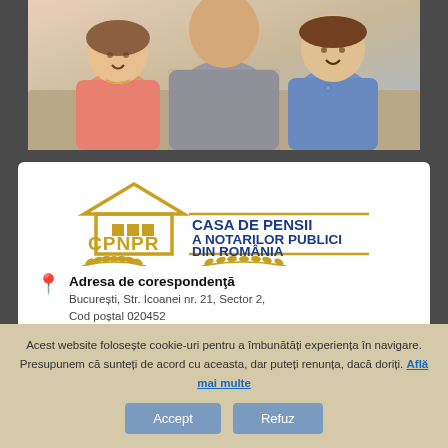[Figure (photo): A photo of a grandfather with two grandchildren (a girl in pink and a boy in blue shirt), smiling together.]
[Figure (logo): CPNPR logo — Casa de Pensii a Notarilor Publici din România, with a house/roof shape in gold and wheat decoration.]
Adresa de corespondenţă
București, Str. Icoanei nr. 21, Sector 2, Cod poștal 020452
Acest website folosește cookie-uri pentru a îmbunătăți experiența în navigare. Presupunem că sunteți de acord cu aceasta, dar puteți renunța, dacă doriți. Află mai multe